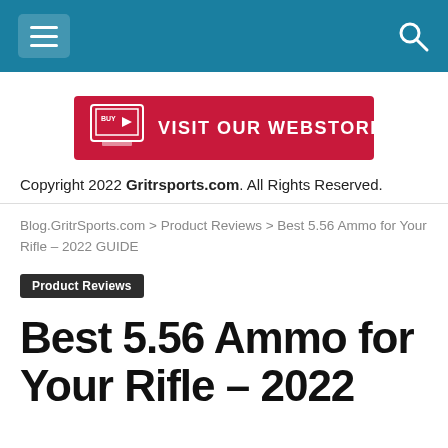[Figure (screenshot): Navigation bar with hamburger menu icon on left and search icon on right, teal/dark cyan background]
[Figure (infographic): Red banner advertisement reading VISIT OUR WEBSTORE with a laptop/buy icon on the left]
Copyright 2022 Gritrsports.com. All Rights Reserved.
Blog.GritrSports.com > Product Reviews > Best 5.56 Ammo for Your Rifle – 2022 GUIDE
Product Reviews
Best 5.56 Ammo for Your Rifle – 2022